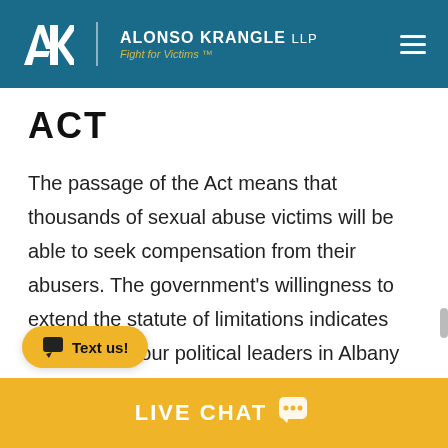ALONSO KRANGLE LLP — Fight for Victims™
ACT
The passage of the Act means that thousands of sexual abuse victims will be able to seek compensation from their abusers. The government's willingness to extend the statute of limitations indicates how serious our political leaders in Albany are taking child sexual abuse, especially when